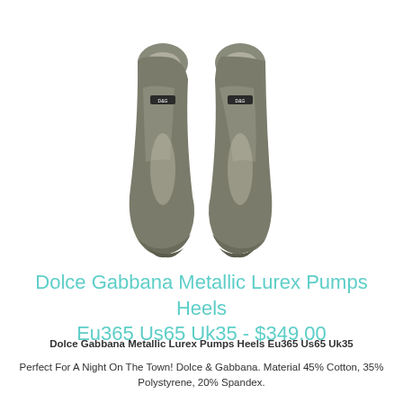[Figure (photo): Two metallic gray/silver Dolce Gabbana pointed-toe stiletto pump heels viewed from above, showing the front toe and heel portion of each shoe side by side]
Dolce Gabbana Metallic Lurex Pumps Heels Eu365 Us65 Uk35 - $349.00
Dolce Gabbana Metallic Lurex Pumps Heels Eu365 Us65 Uk35
Perfect For A Night On The Town! Dolce & Gabbana. Material 45% Cotton, 35% Polystyrene, 20% Spandex.